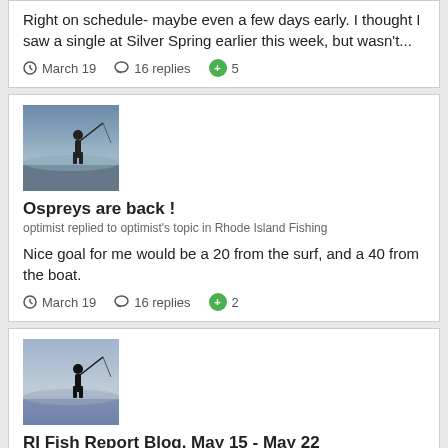Right on schedule- maybe even a few days early. I thought I saw a single at Silver Spring earlier this week, but wasn't...
March 19   16 replies   +5
[Figure (photo): Avatar image of silhouette fishing on water]
Ospreys are back !
optimist replied to optimist's topic in Rhode Island Fishing
Nice goal for me would be a 20 from the surf, and a 40 from the boat.
March 19   16 replies   +2
[Figure (photo): Avatar image of silhouette fishing on water]
RI Fish Report Blog. May 15 - May 22
optimist replied to Capt.Castafly's topic in Rhode Island Fishing
+1 !!!!!!!!!!!!!!!! That's a pic that you and she will value forever !